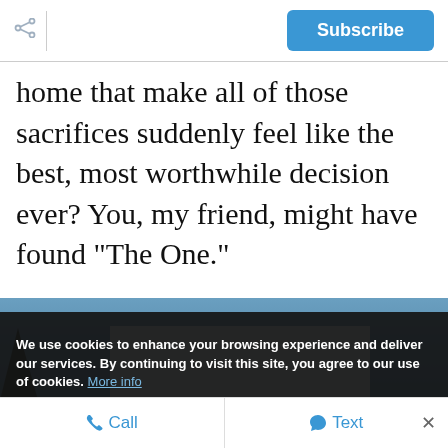Subscribe
home that make all of those sacrifices suddenly feel like the best, most worthwhile decision ever? You, my friend, might have found "The One."
[Figure (photo): Partial view of a house exterior with blue sky background and white overlay box]
We use cookies to enhance your browsing experience and deliver our services. By continuing to visit this site, you agree to our use of cookies. More info
Call   Text   ×